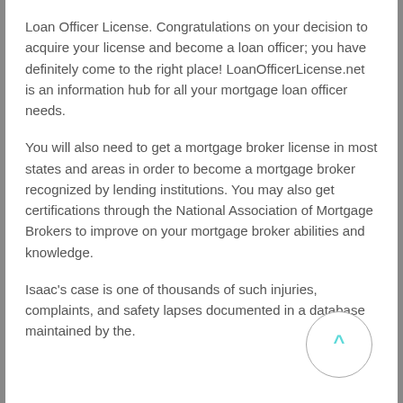Loan Officer License. Congratulations on your decision to acquire your license and become a loan officer; you have definitely come to the right place! LoanOfficerLicense.net is an information hub for all your mortgage loan officer needs.
You will also need to get a mortgage broker license in most states and areas in order to become a mortgage broker recognized by lending institutions. You may also get certifications through the National Association of Mortgage Brokers to improve on your mortgage broker abilities and knowledge.
Isaac's case is one of thousands of such injuries, complaints, and safety lapses documented in a database maintained by the.